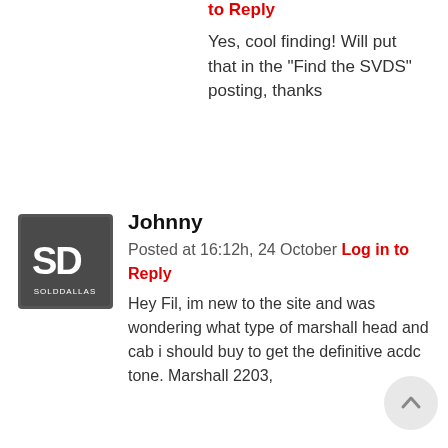to Reply
Yes, cool finding! Will put that in the “Find the SVDS” posting, thanks
Johnny
Posted at 16:12h, 24 October Log in to Reply
Hey Fil, im new to the site and was wondering what type of marshall head and cab i should buy to get the definitive acdc tone. Marshall 2203,